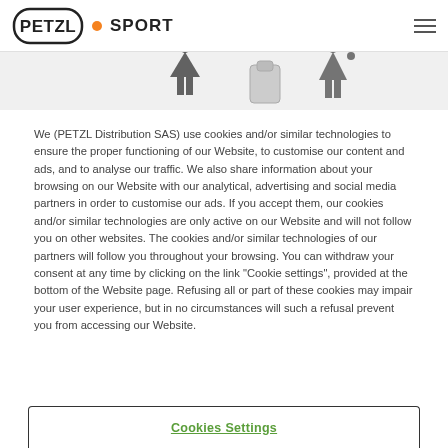PETZL • SPORT
[Figure (illustration): Partial banner strip showing cropped figures/icons on a light grey background]
We (PETZL Distribution SAS) use cookies and/or similar technologies to ensure the proper functioning of our Website, to customise our content and ads, and to analyse our traffic. We also share information about your browsing on our Website with our analytical, advertising and social media partners in order to customise our ads. If you accept them, our cookies and/or similar technologies are only active on our Website and will not follow you on other websites. The cookies and/or similar technologies of our partners will follow you throughout your browsing. You can withdraw your consent at any time by clicking on the link "Cookie settings", provided at the bottom of the Website page. Refusing all or part of these cookies may impair your user experience, but in no circumstances will such a refusal prevent you from accessing our Website.
Cookies Settings